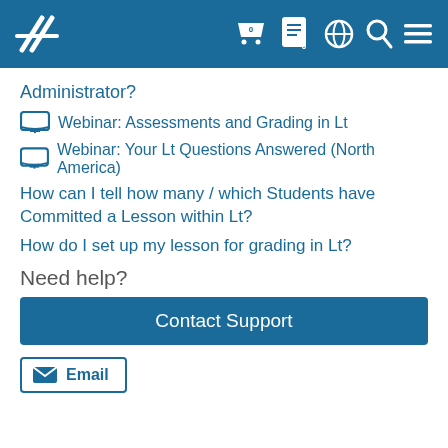Navigation bar with logo and icons
Administrator?
Webinar: Assessments and Grading in Lt
Webinar: Your Lt Questions Answered (North America)
How can I tell how many / which Students have Committed a Lesson within Lt?
How do I set up my lesson for grading in Lt?
Need help?
Contact Support
Email